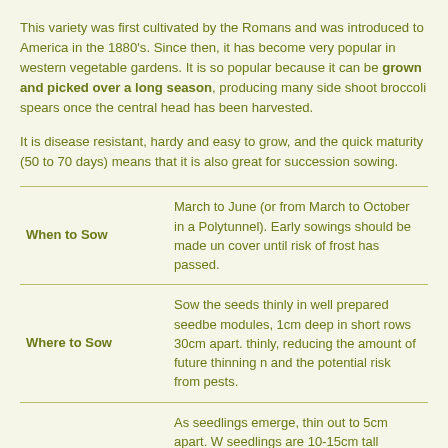This variety was first cultivated by the Romans and was introduced to America in the 1880's. Since then, it has become very popular in western vegetable gardens. It is so popular because it can be grown and picked over a long season, producing many side shoot broccoli spears once the central head has been harvested.
It is disease resistant, hardy and easy to grow, and the quick maturity (50 to 70 days) means that it is also great for succession sowing.
|  |  |
| --- | --- |
| When to Sow | March to June (or from March to October in a Polytunnel). Early sowings should be made un cover until risk of frost has passed. |
| Where to Sow | Sow the seeds thinly in well prepared seedbe modules, 1cm deep in short rows 30cm apart. thinly, reducing the amount of future thinning n and the potential risk from pests. |
|  | As seedlings emerge, thin out to 5cm apart. W seedlings are 10-15cm tall transplant to grow |